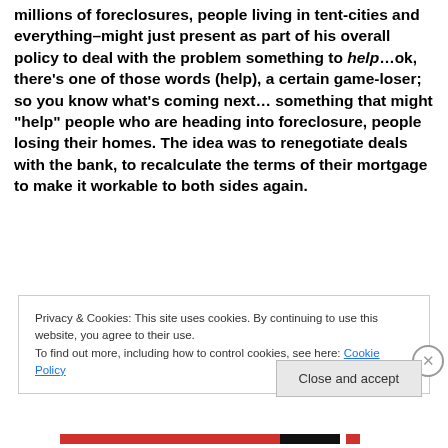when it first got out that Obama might just–with millions of foreclosures, people living in tent-cities and everything–might just present as part of his overall policy to deal with the problem something to help…ok, there's one of those words (help), a certain game-loser; so you know what's coming next… something that might "help" people who are heading into foreclosure, people losing their homes. The idea was to renegotiate deals with the bank, to recalculate the terms of their mortgage to make it workable to both sides again.
Privacy & Cookies: This site uses cookies. By continuing to use this website, you agree to their use.
To find out more, including how to control cookies, see here: Cookie Policy